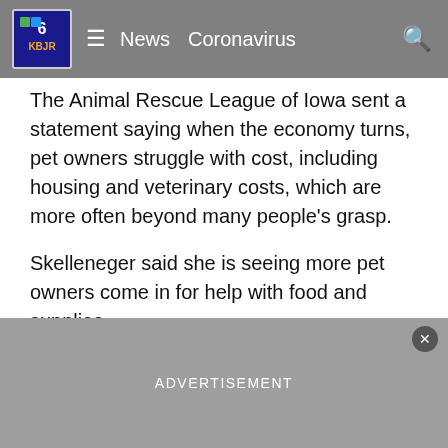KBJR 6 | News | Coronavirus
The Animal Rescue League of Iowa sent a statement saying when the economy turns, pet owners struggle with cost, including housing and veterinary costs, which are more often beyond many people's grasp.
Skelleneger said she is seeing more pet owners come in for help with food and supplies.
“They’re embarrassed and they apologize and say they just can’t afford the cost of the food right now so we help them out,” Skellenger said.
The small animal shelter is having a tough time keeping up with costs themselves. Their vet bills are more than $6,000 a month - and rising.
ADVERTISEMENT